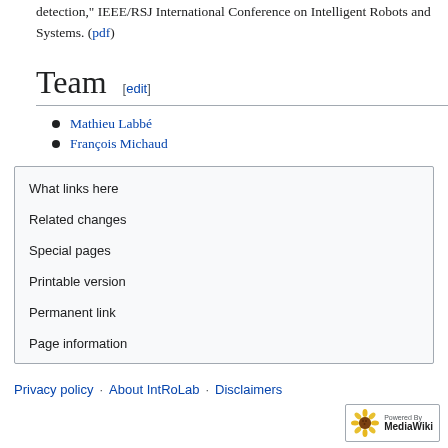detection," IEEE/RSJ International Conference on Intelligent Robots and Systems. (pdf)
Team [edit]
Mathieu Labbé
François Michaud
What links here
Related changes
Special pages
Printable version
Permanent link
Page information
Privacy policy  About IntRoLab  Disclaimers